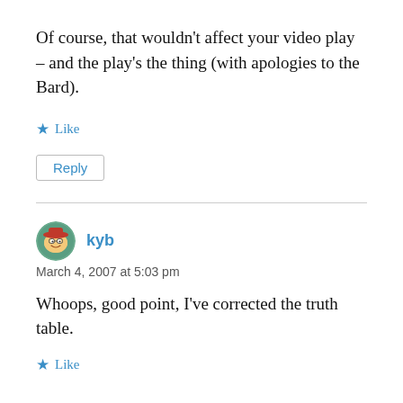Of course, that wouldn't affect your video play – and the play's the thing (with apologies to the Bard).
Like
Reply
kyb
March 4, 2007 at 5:03 pm
Whoops, good point, I've corrected the truth table.
Like